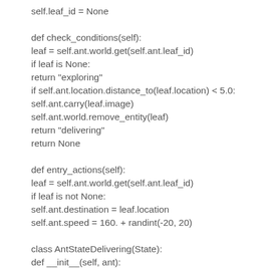self.leaf_id = None

def check_conditions(self):
leaf = self.ant.world.get(self.ant.leaf_id)
if leaf is None:
return "exploring"
if self.ant.location.distance_to(leaf.location) < 5.0:
self.ant.carry(leaf.image)
self.ant.world.remove_entity(leaf)
return "delivering"
return None

def entry_actions(self):
leaf = self.ant.world.get(self.ant.leaf_id)
if leaf is not None:
self.ant.destination = leaf.location
self.ant.speed = 160. + randint(-20, 20)

class AntStateDelivering(State):
def __init__(self, ant):